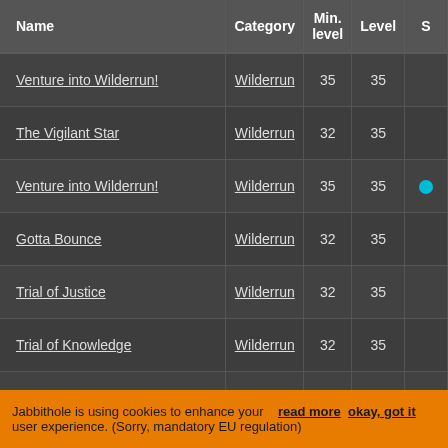| Name | Category | Min. level | Level | S |
| --- | --- | --- | --- | --- |
| Venture into Wilderrun! | Wilderrun | 35 | 35 |  |
| The Vigilant Star | Wilderrun | 32 | 35 |  |
| Venture into Wilderrun! | Wilderrun | 35 | 35 | ● |
| Gotta Bounce | Wilderrun | 32 | 35 |  |
| Trial of Justice | Wilderrun | 32 | 35 |  |
| Trial of Knowledge | Wilderrun | 32 | 35 |  |
| Side Effects | Wilderrun | 36 | 39 | ● |
| Wildbranch Shrine | Wilderrun | 32 | 35 | ● |
Jabbithole is using cookies to enhance your user experience. (Sorry, mandatory EU regulation)   read more   okay, got it